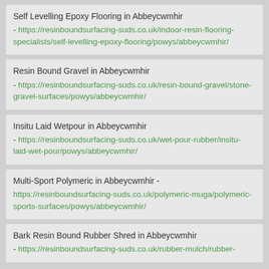Self Levelling Epoxy Flooring in Abbeycwmhir - https://resinboundsurfacing-suds.co.uk/indoor-resin-flooring-specialists/self-levelling-epoxy-flooring/powys/abbeycwmhir/
Resin Bound Gravel in Abbeycwmhir - https://resinboundsurfacing-suds.co.uk/resin-bound-gravel/stone-gravel-surfaces/powys/abbeycwmhir/
Insitu Laid Wetpour in Abbeycwmhir - https://resinboundsurfacing-suds.co.uk/wet-pour-rubber/insitu-laid-wet-pour/powys/abbeycwmhir/
Multi-Sport Polymeric in Abbeycwmhir - https://resinboundsurfacing-suds.co.uk/polymeric-muga/polymeric-sports-surfaces/powys/abbeycwmhir/
Bark Resin Bound Rubber Shred in Abbeycwmhir - https://resinboundsurfacing-suds.co.uk/rubber-mulch/rubber-